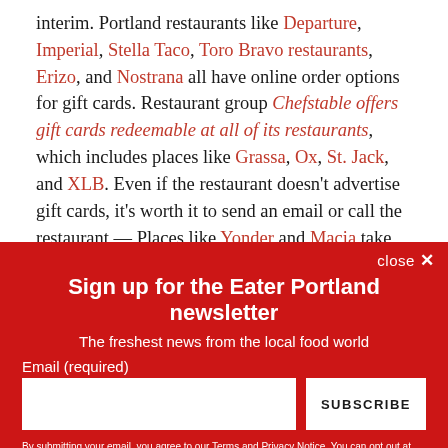interim. Portland restaurants like Departure, Imperial, Stella Taco, Toro Bravo restaurants, Erizo, and Nostrana all have online order options for gift cards. Restaurant group Chefstable offers gift cards redeemable at all of its restaurants, which includes places like Grassa, Ox, St. Jack, and XLB. Even if the restaurant doesn't advertise gift cards, it's worth it to send an email or call the restaurant — Places like Yonder and Macia take digital gift card orders over the
close ✕
Sign up for the Eater Portland newsletter
The freshest news from the local food world
Email (required)
SUBSCRIBE
By submitting your email, you agree to our Terms and Privacy Notice. You can opt out at any time. This site is protected by reCAPTCHA and the Google Privacy Policy and Terms of Service apply.